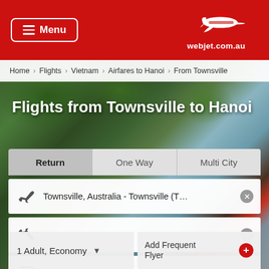Menu — webjet.com.au
Home › Flights › Vietnam › Airfares to Hanoi › From Townsville
Flights from Townsville to Hanoi
Return | One Way | Multi City
Townsville, Australia - Townsville (T…
Select Travel Dates
1 Adult, Economy
Add Frequent Flyer